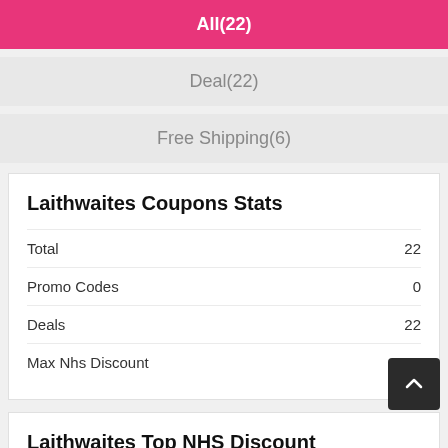All(22)
Deal(22)
Free Shipping(6)
Laithwaites Coupons Stats
|  |  |
| --- | --- |
| Total | 22 |
| Promo Codes | 0 |
| Deals | 22 |
| Max Nhs Discount | 25% |
Laithwaites Top NHS Discount
Laithwaites NHS Discount
Grab Up To £94 Off Selected Orders At Laithwaites